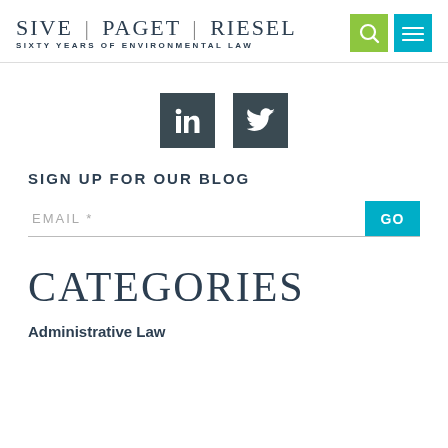SIVE | PAGET | RIESEL — SIXTY YEARS OF ENVIRONMENTAL LAW
[Figure (logo): LinkedIn and Twitter social media icon buttons]
SIGN UP FOR OUR BLOG
EMAIL *
CATEGORIES
Administrative Law